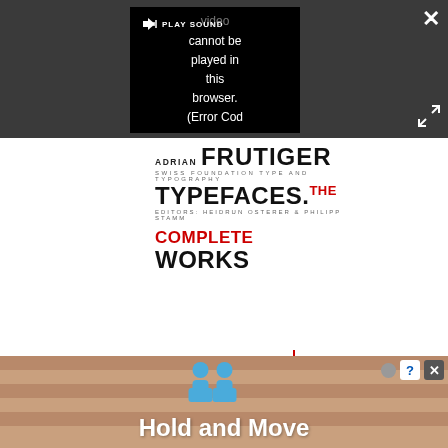[Figure (screenshot): Browser video player showing error message: video cannot be played in this browser (Error Cod...). Dark gray overlay with PLAY SOUND button, close X button and expand button.]
[Figure (logo): Book logo: ADRIAN FRUTIGER TYPEFACES. THE COMPLETE WORKS with subtitle lines in small caps]
[Figure (screenshot): Advertisement banner showing blue cartoon figures and text 'Hold and Move' on a striped orange/tan background with close and help buttons]